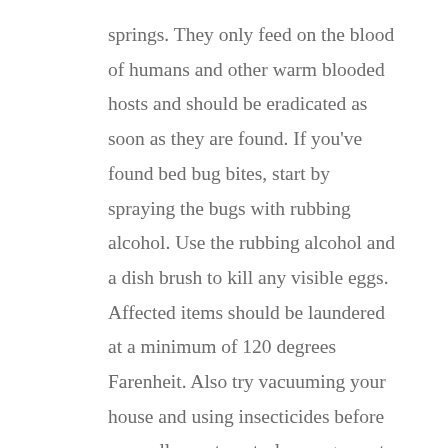springs. They only feed on the blood of humans and other warm blooded hosts and should be eradicated as soon as they are found. If you've found bed bug bites, start by spraying the bugs with rubbing alcohol. Use the rubbing alcohol and a dish brush to kill any visible eggs. Affected items should be laundered at a minimum of 120 degrees Farenheit. Also try vacuuming your house and using insecticides before you call a pest control management specialist.
Cockroaches
Cockroaches are notoriously difficult to exterminate. They are cold blooded, need much less food than humans do, and can live for weeks without heads. Physical attacks are usually